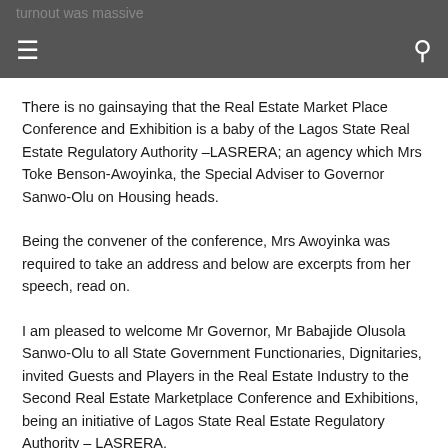turnout was massive
There is no gainsaying that the Real Estate Market Place Conference and Exhibition is a baby of the Lagos State Real Estate Regulatory Authority –LASRERA; an agency which Mrs Toke Benson-Awoyinka, the Special Adviser to Governor Sanwo-Olu on Housing heads.
Being the convener of the conference, Mrs Awoyinka was required to take an address and below are excerpts from her speech, read on.
I am pleased to welcome Mr Governor, Mr Babajide Olusola Sanwo-Olu to all State Government Functionaries, Dignitaries, invited Guests and Players in the Real Estate Industry to the Second Real Estate Marketplace Conference and Exhibitions, being an initiative of Lagos State Real Estate Regulatory Authority – LASRERA.